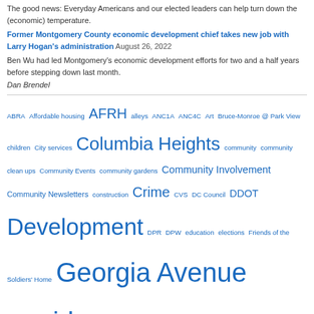The good news: Everyday Americans and our elected leaders can help turn down the (economic) temperature.
Former Montgomery County economic development chief takes new job with Larry Hogan's administration August 26, 2022
Ben Wu had led Montgomery's economic development efforts for two and a half years before stepping down last month.
Dan Brendel
ABRA Affordable housing AFRH alleys ANC1A ANC4C Art Bruce-Monroe @ Park View children City services Columbia Heights community community clean ups Community Events community gardens Community Involvement Community Newsletters construction Crime CVS DC Council DDOT Development DPR DPW education elections Friends of the Soldiers' Home Georgia Avenue corridor graffiti Great Streets Halloween historic